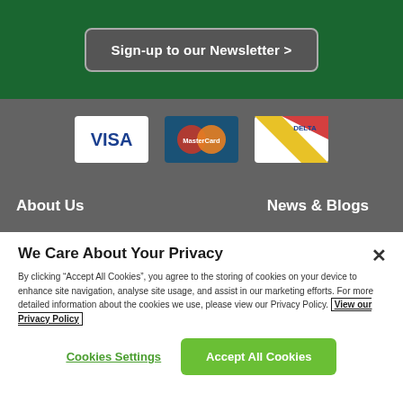Sign-up to our Newsletter >
[Figure (logo): VISA payment card logo]
[Figure (logo): MasterCard payment card logo]
[Figure (logo): Delta payment card logo]
About Us
News & Blogs
We Care About Your Privacy
By clicking "Accept All Cookies", you agree to the storing of cookies on your device to enhance site navigation, analyse site usage, and assist in our marketing efforts. For more detailed information about the cookies we use, please view our Privacy Policy. View our Privacy Policy
Cookies Settings
Accept All Cookies